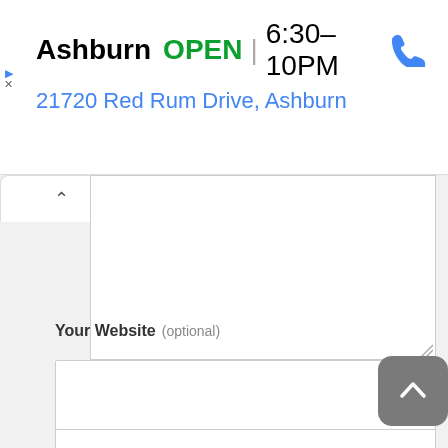Ashburn OPEN 6:30–10PM
21720 Red Rum Drive, Ashburn
Your Name (required)
Your Email (required)
Your Website (optional)